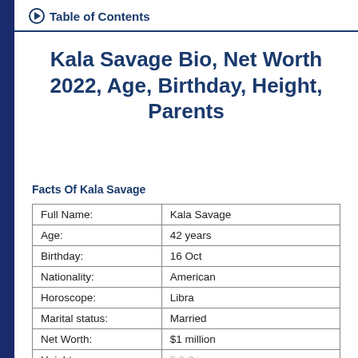Table of Contents
Kala Savage Bio, Net Worth 2022, Age, Birthday, Height, Parents
Facts Of Kala Savage
|  |  |
| --- | --- |
| Full Name: | Kala Savage |
| Age: | 42 years |
| Birthday: | 16 Oct |
| Nationality: | American |
| Horoscope: | Libra |
| Marital status: | Married |
| Net Worth: | $1 million |
| Height: | 5 ft 8 in |